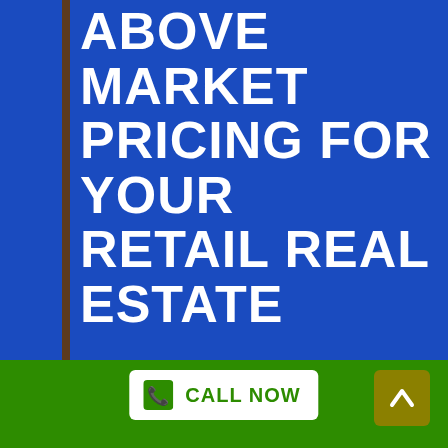ABOVE MARKET PRICING FOR YOUR RETAIL REAL ESTATE
We Buy Commercial Real Estate in Branchton Now No Charges As Well As No Repairs Needed To Offer Your Properties. Surefire Sale With A Full Cash Money Offer. No Showings Or Examinations And 0 Days On The Market. Market Your Property For Money Phone Call Now! Sell In Any Kind Of Condition. Read Our Terrific Evaluations. Obtain
[Figure (other): Green footer bar with white CALL NOW button with phone icon and olive/dark-yellow up-arrow button]